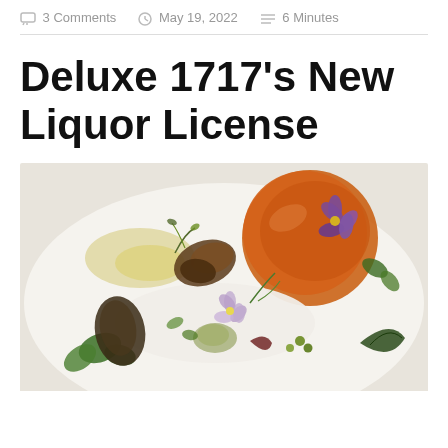3 Comments  May 19, 2022  6 Minutes
Deluxe 1717's New Liquor License
[Figure (photo): Artfully plated restaurant dish on a white plate with orange sauce, purple edible flowers, fried elements, dill, green herbs, and various garnishes.]